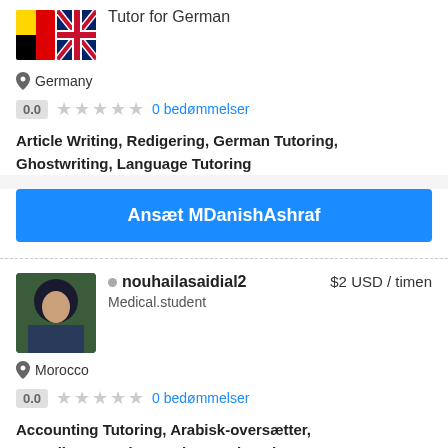Tutor for German
Germany
0.0  ★★★★★  0 bedømmelser
Article Writing, Redigering, German Tutoring, Ghostwriting, Language Tutoring
Ansæt MDanishAshraf
nouhailasaidial2  $2 USD / timen
Medical.student
Morocco
0.0  ★★★★★  0 bedømmelser
Accounting Tutoring, Arabisk-oversætter, Canadian French Translator, Education Consulting, English (UK) Translator
Ansæt nouhailasaidial2